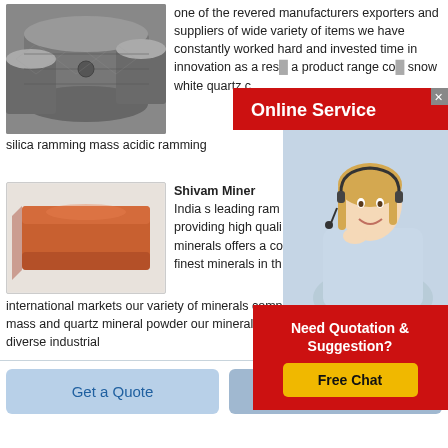[Figure (photo): Gray industrial rolls/cylinders stacked together]
one of the revered manufacturers exporters and suppliers of wide variety of items we have constantly worked hard and invested time in innovation as a result we have now developed a product range comprising of snow white quartz c silica ramming mass acidic ramming
[Figure (infographic): Online Service popup with red banner and woman wearing headset]
[Figure (photo): Orange/brown brick mineral product]
Shivam Miner
India s leading rami providing high quali minerals offers a co finest minerals in th international markets our variety of minerals comprises of acidic ramming mass and quartz mineral powder our minerals cater to the requirements of diverse industrial
[Figure (infographic): Need Quotation & Suggestion? Free Chat popup with red background and yellow button]
Get a Quote
Chat Now